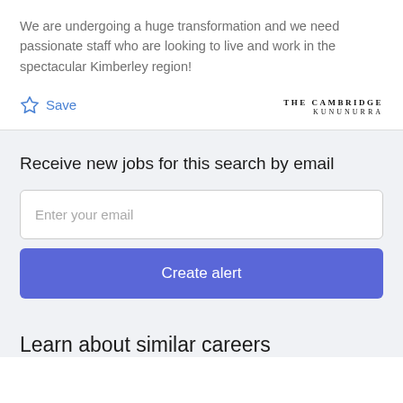We are undergoing a huge transformation and we need passionate staff who are looking to live and work in the spectacular Kimberley region!
Save
[Figure (logo): The Cambridge Kununurra logo — serif text reading 'THE CAMBRIDGE' with 'KUNUNURRA' below]
Receive new jobs for this search by email
Enter your email
Create alert
Learn about similar careers